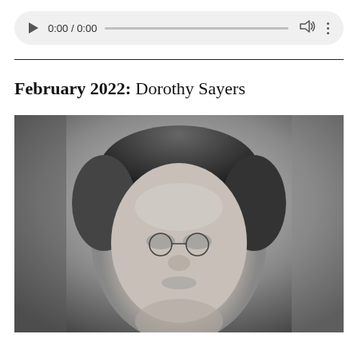[Figure (screenshot): Audio player UI element showing play button, time display '0:00 / 0:00', progress bar, volume icon, and options dots menu on a light gray rounded rectangle background.]
February 2022: Dorothy Sayers
[Figure (photo): Black and white portrait photograph of Dorothy Sayers, showing her face and upper head, wearing pince-nez glasses, with short wavy hair, looking slightly upward.]